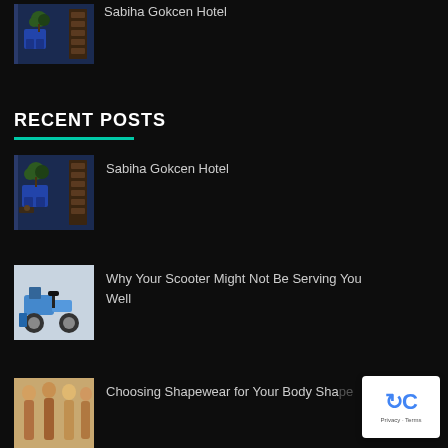Sabiha Gokcen Hotel
RECENT POSTS
[Figure (photo): Hotel lobby interior with blue armchairs and wooden bookshelves]
Sabiha Gokcen Hotel
[Figure (photo): Mobility scooter / electric wheelchair in a room]
Why Your Scooter Might Not Be Serving You Well
[Figure (photo): Group of women modeling shapewear]
Choosing Shapewear for Your Body Shape